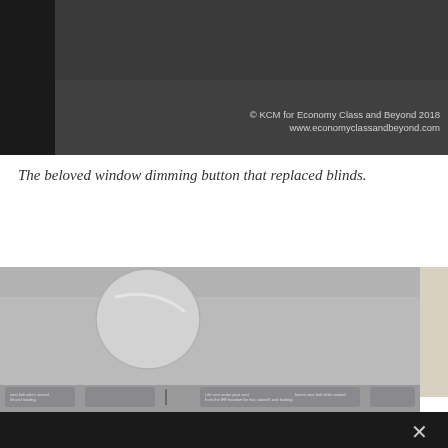[Figure (photo): Top portion of an airplane interior photo showing dark overhead area with watermark text: © KCM for Economy Class and Beyond 2018, www.economyclassandbeyond.com]
The beloved window dimming button that replaced blinds.
[Figure (photo): Photo of airplane window panel showing a round dimming button on a gray fabric surface, with seat belt and safety instruction placards visible at the bottom edge]